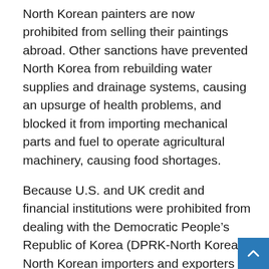North Korean painters are now prohibited from selling their paintings abroad. Other sanctions have prevented North Korea from rebuilding water supplies and drainage systems, causing an upsurge of health problems, and blocked it from importing mechanical parts and fuel to operate agricultural machinery, causing food shortages.
Because U.S. and UK credit and financial institutions were prohibited from dealing with the Democratic People's Republic of Korea (DPRK-North Korea), North Korean importers and exporters had to travel to their foreign suppliers with suitcases stashed with cash or empty money bags to collect payments.
The sanctions furthermore a) helped prevent the signing of a 9-digit dollar contract with a Swiss company that would have greatly improved North Korea's power network; b) led to